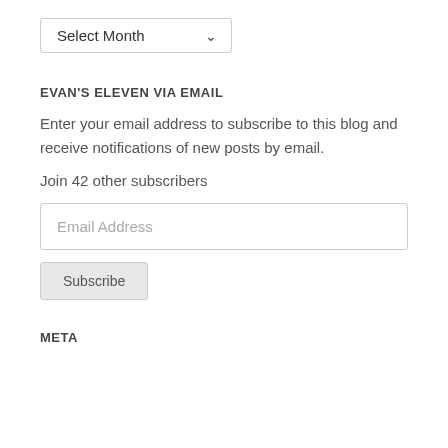[Figure (other): Dropdown select box with label 'Select Month' and a down arrow]
EVAN'S ELEVEN VIA EMAIL
Enter your email address to subscribe to this blog and receive notifications of new posts by email.
Join 42 other subscribers
[Figure (other): Email address input field with placeholder text 'Email Address']
[Figure (other): Subscribe button]
META